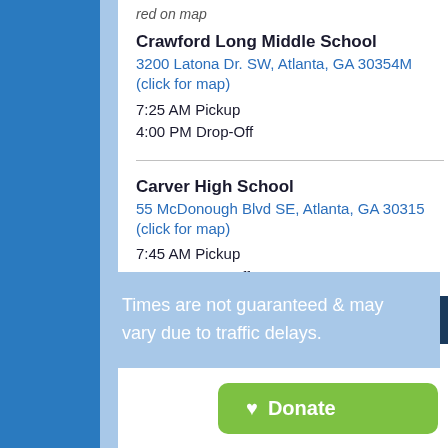red on map
Crawford Long Middle School
3200 Latona Dr. SW, Atlanta, GA 30354M (click for map)
7:25 AM Pickup
4:00 PM Drop-Off
Carver High School
55 McDonough Blvd SE, Atlanta, GA 30315 (click for map)
7:45 AM Pickup
3:45 PM Drop-off
Times are not guaranteed & may vary due to traffic delays.